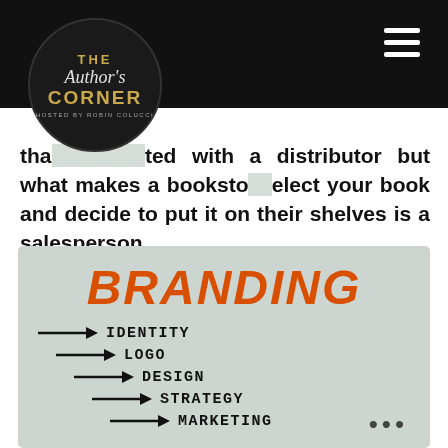The Author's Corner – Hosted by Robin Colucci
that [are affiliated] with a distributor but what makes a bookstore select your book and decide to put it on their shelves is a salesperson.
[Figure (infographic): Branding infographic with orange bold italic title 'BRANDING' and handwritten-style arrow list: IDENTITY, LOGO, DESIGN, STRATEGY, MARKETING each with increasing indentation]
...